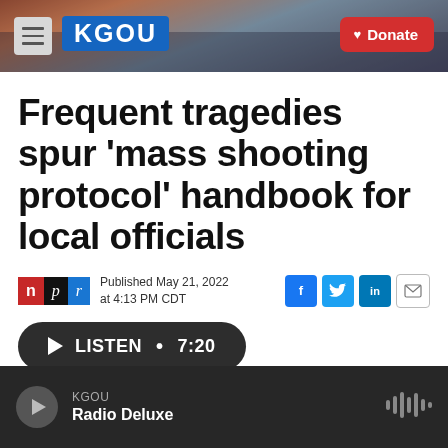[Figure (screenshot): KGOU radio station website header with hamburger menu, KGOU logo in blue, city skyline background, and red Donate button]
Frequent tragedies spur 'mass shooting protocol' handbook for local officials
Published May 21, 2022 at 4:13 PM CDT
[Figure (logo): NPR logo with red n, black p, blue r]
[Figure (infographic): Social share icons: Facebook, Twitter, LinkedIn, Email]
LISTEN • 7:20
[Figure (infographic): KGOU Radio Deluxe audio player bar at bottom with play button and sound wave icon]